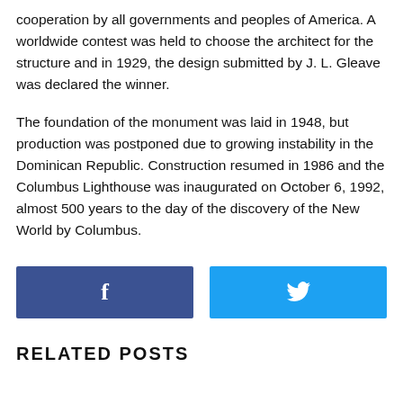cooperation by all governments and peoples of America. A worldwide contest was held to choose the architect for the structure and in 1929, the design submitted by J. L. Gleave was declared the winner.
The foundation of the monument was laid in 1948, but production was postponed due to growing instability in the Dominican Republic. Construction resumed in 1986 and the Columbus Lighthouse was inaugurated on October 6, 1992, almost 500 years to the day of the discovery of the New World by Columbus.
[Figure (other): Facebook share button (dark blue) and Twitter share button (light blue) side by side]
RELATED POSTS